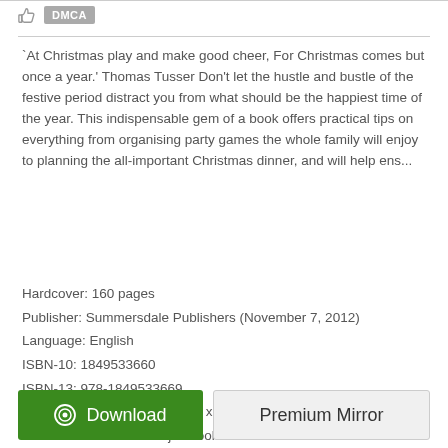DMCA
`At Christmas play and make good cheer, For Christmas comes but once a year.' Thomas Tusser Don't let the hustle and bustle of the festive period distract you from what should be the happiest time of the year. This indispensable gem of a book offers practical tips on everything from organising party games the whole family will enjoy to planning the all-important Christmas dinner, and will help ens...
Hardcover: 160 pages
Publisher: Summersdale Publishers (November 7, 2012)
Language: English
ISBN-10: 1849533660
ISBN-13: 978-1849533669
Product Dimensions: 3.9 x 0.8 x 5.4 inches
Format: PDF ePub fb2 djvu book